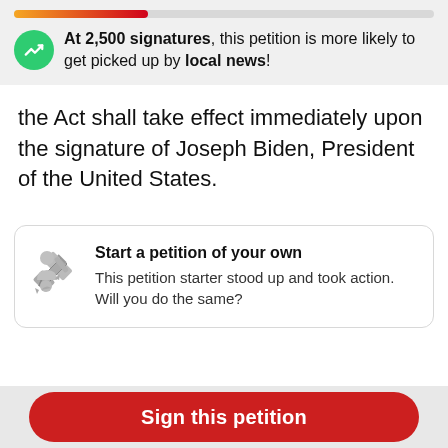[Figure (infographic): Progress bar (orange to red gradient, ~32% filled) above a green circle icon with upward trending arrow, representing a petition milestone notification]
At 2,500 signatures, this petition is more likely to get picked up by local news!
the Act shall take effect immediately upon the signature of Joseph Biden, President of the United States.
Start a petition of your own
This petition starter stood up and took action. Will you do the same?
Sign this petition